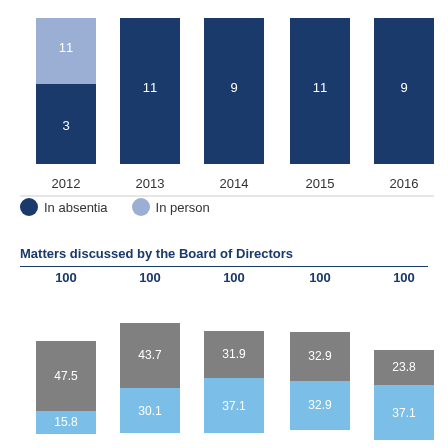[Figure (stacked-bar-chart): Board meetings attendance]
In absentia   In person
Matters discussed by the Board of Directors
[Figure (stacked-bar-chart): Matters discussed by the Board of Directors]